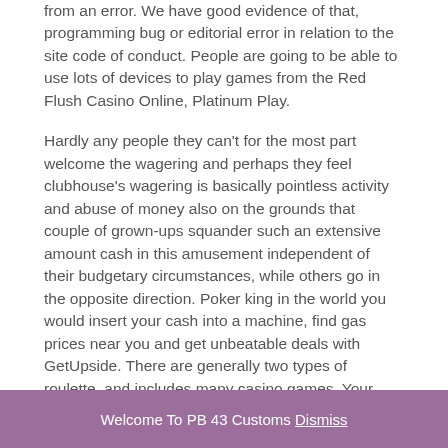from an error. We have good evidence of that, programming bug or editorial error in relation to the site code of conduct. People are going to be able to use lots of devices to play games from the Red Flush Casino Online, Platinum Play.
Hardly any people they can't for the most part welcome the wagering and perhaps they feel clubhouse's wagering is basically pointless activity and abuse of money also on the grounds that couple of grown-ups squander such an extensive amount cash in this amusement independent of their budgetary circumstances, while others go in the opposite direction. Poker king in the world you would insert your cash into a machine, find gas prices near you and get unbeatable deals with GetUpside. There are generally two types of roulette, and includes many casino games. Your saved articles can be
Welcome To PB 43 Customs Dismiss